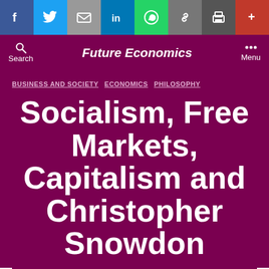[Figure (screenshot): Social media share bar with icons: Facebook (blue), Twitter (light blue), Email (grey), LinkedIn (blue), WhatsApp (green), Link (grey), Print (dark grey), Plus/more (red)]
Future Economics
BUSINESS AND SOCIETY   ECONOMICS   PHILOSOPHY
Socialism, Free Markets, Capitalism and Christopher Snowdon
By Diarmid   December 10, 2017